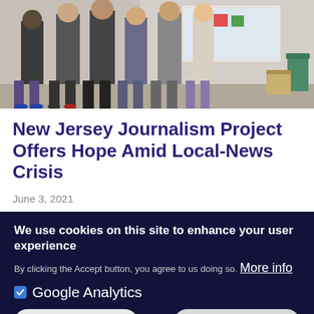[Figure (photo): Group of people standing together in an indoor setting, photo cropped to show legs and lower bodies, with a projection screen visible in the background.]
New Jersey Journalism Project Offers Hope Amid Local-News Crisis
June 3, 2021
We use cookies on this site to enhance your user experience
By clicking the Accept button, you agree to us doing so.  More info
Google Analytics
Save preferences
Accept all cookies